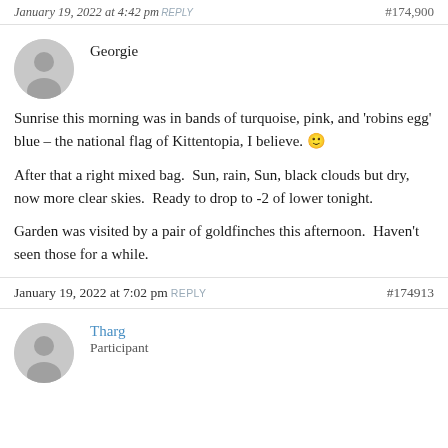January 19, 2022 at 4:42 pm ... #174900
Georgie
Sunrise this morning was in bands of turquoise, pink, and 'robins egg' blue – the national flag of Kittentopia, I believe. 🙂

After that a right mixed bag.  Sun, rain, Sun, black clouds but dry, now more clear skies.  Ready to drop to -2 of lower tonight.

Garden was visited by a pair of goldfinches this afternoon.  Haven't seen those for a while.
January 19, 2022 at 7:02 pm REPLY  #174913
Tharg
Participant